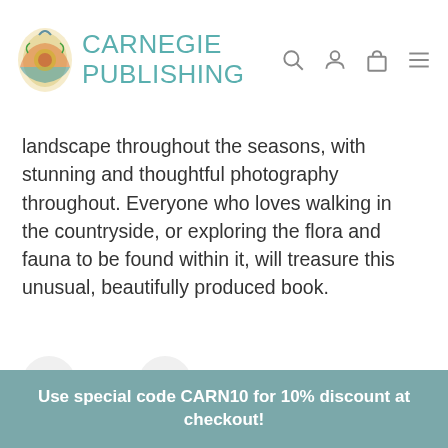Carnegie Publishing
landscape throughout the seasons, with stunning and thoughtful photography throughout. Everyone who loves walking in the countryside, or exploring the flora and fauna to be found within it, will treasure this unusual, beautifully produced book.
- 1 +
Add To Basket
Use special code CARN10 for 10% discount at checkout!